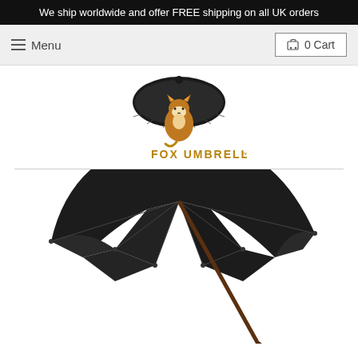We ship worldwide and offer FREE shipping on all UK orders
[Figure (logo): Fox Umbrellas logo: a fox sitting under an open black umbrella, with 'FOX UMBRELLAS' text below in gold/brown]
[Figure (photo): Large product photo of a black open umbrella viewed from above/side angle, showing the canopy and wooden handle, on white background]